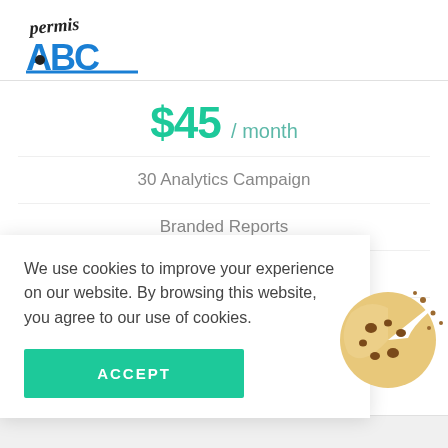[Figure (logo): permis ABC driving school logo with blue letters and black dot]
$45 / month
30 Analytics Campaign
Branded Reports
700 Keywords
100 Social Account
We use cookies to improve your experience on our website. By browsing this website, you agree to our use of cookies.
ACCEPT
[Figure (illustration): Cookie illustration - a round cookie with a bite taken out, showing chocolate chip spots]